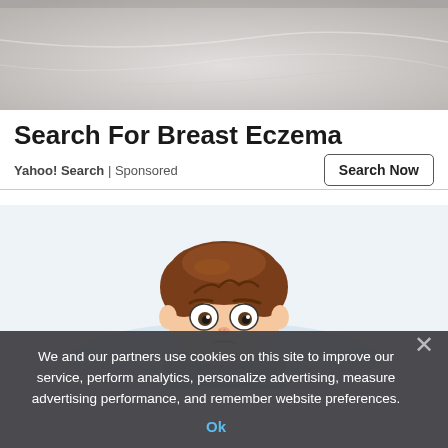[Figure (photo): Close-up of white fabric or clothing, textured surface at the top of the page]
Search For Breast Eczema
Yahoo! Search | Sponsored
[Figure (illustration): Cartoon illustration of a worried or sick boy lying in bed with a light blue pillow background]
We and our partners use cookies on this site to improve our service, perform analytics, personalize advertising, measure advertising performance, and remember website preferences.
Ok